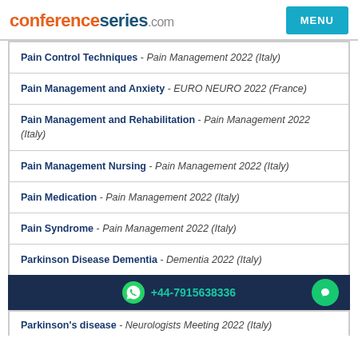conferenceseries.com
Pain Control Techniques - Pain Management 2022 (Italy)
Pain Management and Anxiety - EURO NEURO 2022 (France)
Pain Management and Rehabilitation - Pain Management 2022 (Italy)
Pain Management Nursing - Pain Management 2022 (Italy)
Pain Medication - Pain Management 2022 (Italy)
Pain Syndrome - Pain Management 2022 (Italy)
Parkinson Disease Dementia - Dementia 2022 (Italy)
+44-7915638336
Parkinson's disease - Neurologists Meeting 2022 (Italy)